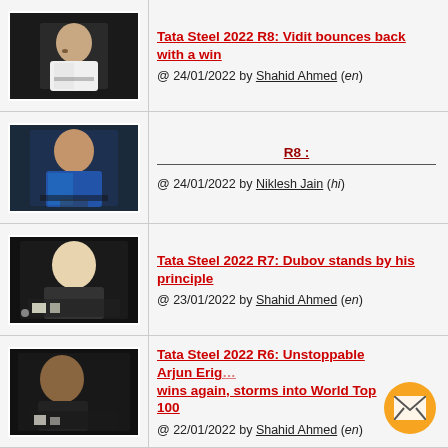[Figure (photo): Chess player sitting at board, thinking, hand near face]
Tata Steel 2022 R8: Vidit bounces back with a win
@ 24/01/2022 by Shahid Ahmed (en)
[Figure (photo): Chess player in blue jacket at board]
R8 :
@ 24/01/2022 by Niklesh Jain (hi)
[Figure (photo): Young blonde chess player at board with pieces]
Tata Steel 2022 R7: Dubov stands by his principle
@ 23/01/2022 by Shahid Ahmed (en)
[Figure (photo): Chess player with glasses at board]
Tata Steel 2022 R6: Unstoppable Arjun Erigaisi wins again, storms into World Top 100
@ 22/01/2022 by Shahid Ahmed (en)